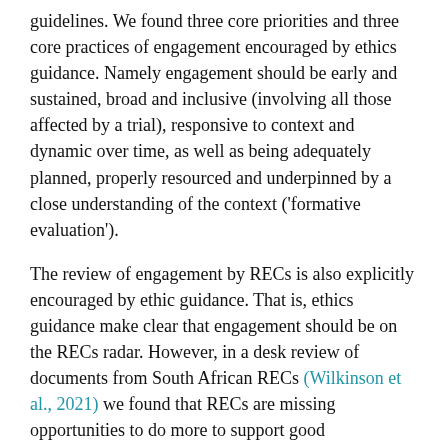guidelines. We found three core priorities and three core practices of engagement encouraged by ethics guidance. Namely engagement should be early and sustained, broad and inclusive (involving all those affected by a trial), responsive to context and dynamic over time, as well as being adequately planned, properly resourced and underpinned by a close understanding of the context ('formative evaluation').
The review of engagement by RECs is also explicitly encouraged by ethic guidance. That is, ethics guidance make clear that engagement should be on the RECs radar. However, in a desk review of documents from South African RECs (Wilkinson et al., 2021) we found that RECs are missing opportunities to do more to support good engagement. While we found that some REC documents (SOPs, application forms, renewal forms, policies ) did encourage sound engagement, e.g. broad and inclusive, many RECs documents fall short of promoting high